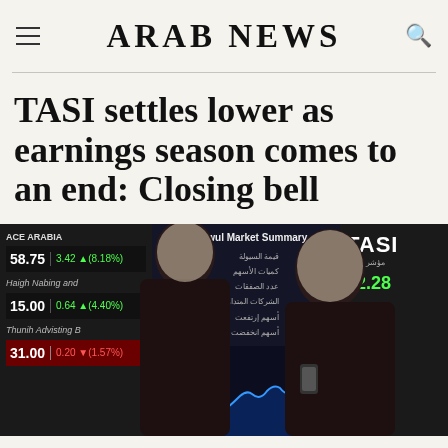ARAB NEWS
TASI settles lower as earnings season comes to an end: Closing bell
[Figure (photo): Two men in traditional Saudi dress (thobe and ghutra) viewed from behind, standing in front of a large Tadawul stock exchange digital board showing market data, stock prices, and a blue line chart. Left panel shows stock listings including prices 58.75 with change 3.42 (8.18%), 15.00 with change 0.64 (4.40%), and 31.00 with change 0.20 (1.57%). Center panel shows Tadawul Market Summary with Arabic text and numbers. Right panel shows TASI with value 42.28 in green.]